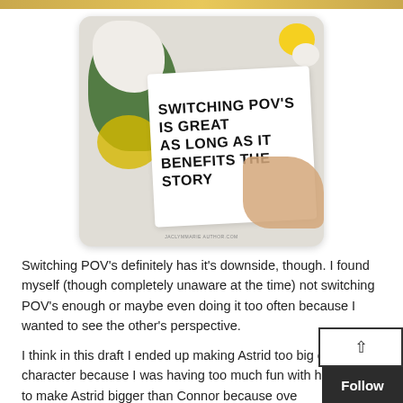[Figure (photo): A styled blog post image showing a hand writing on a white card/paper with text 'SWITCHING POV'S IS GREAT AS LONG AS IT BENEFITS THE STORY' surrounded by white and yellow flowers on a light wooden background. Watermark reads JACLYMMARIE AUTHOR.COM]
Switching POV's definitely has it's downside, though. I found myself (though completely unaware at the time) not switching POV's enough or maybe even doing it too often because I wanted to see the other's perspective.
I think in this draft I ended up making Astrid too big of a character because I was having too much fun with her. I want to make Astrid bigger than Connor because ove